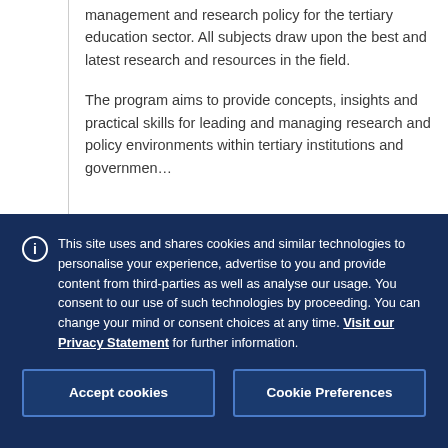management and research policy for the tertiary education sector. All subjects draw upon the best and latest research and resources in the field.
The program aims to provide concepts, insights and practical skills for leading and managing research and policy environments within tertiary institutions and government.
This site uses and shares cookies and similar technologies to personalise your experience, advertise to you and provide content from third-parties as well as analyse our usage. You consent to our use of such technologies by proceeding. You can change your mind or consent choices at any time. Visit our Privacy Statement for further information.
Accept cookies
Cookie Preferences